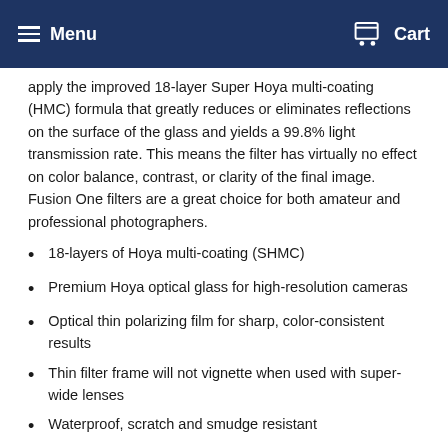Menu  Cart
apply the improved 18-layer Super Hoya multi-coating (HMC) formula that greatly reduces or eliminates reflections on the surface of the glass and yields a 99.8% light transmission rate. This means the filter has virtually no effect on color balance, contrast, or clarity of the final image. Fusion One filters are a great choice for both amateur and professional photographers.
18-layers of Hoya multi-coating (SHMC)
Premium Hoya optical glass for high-resolution cameras
Optical thin polarizing film for sharp, color-consistent results
Thin filter frame will not vignette when used with super-wide lenses
Waterproof, scratch and smudge resistant
Four Filter Storage Wallet (Black). The Four Filter Storage Wallet is a Cordura nylon pouch made to hold 4 round filters from 27mm to 82mm. DIMENSIONS: 8.5" x 4.25" Closed - 8.5"